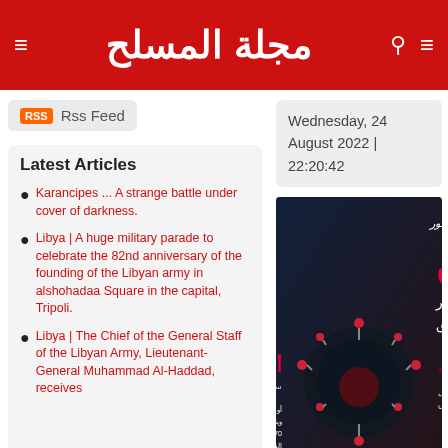مجلة المسلح (magazine/news site header)
Rss Feed
Latest Articles
Karancipes ... A strange battle under cover of darkness.
Libya | A huge military parade to celebrate the 82nd anniversary of the founding of the Libyan army in alshohadaa Square in the capital, Tripoli.
Libya | The Chief of the General Staff of the Libyan Army, Lieutenant-General Muhammad Al-Haddad, receives
Wednesday, 24 August 2022 | 22:20:42
[Figure (illustration): Arabic magazine cover featuring Omicron (اوميكرون) COVID-19 variant with Arabic text on dark background with virus imagery]